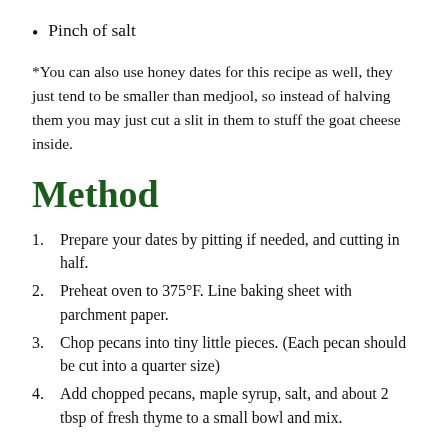Pinch of salt
*You can also use honey dates for this recipe as well, they just tend to be smaller than medjool, so instead of halving them you may just cut a slit in them to stuff the goat cheese inside.
Method
1. Prepare your dates by pitting if needed, and cutting in half.
2. Preheat oven to 375°F. Line baking sheet with parchment paper.
3. Chop pecans into tiny little pieces. (Each pecan should be cut into a quarter size)
4. Add chopped pecans, maple syrup, salt, and about 2 tbsp of fresh thyme to a small bowl and mix.